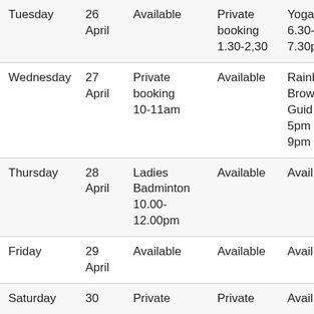| Day | Date | Hall | Meeting Room | Other |
| --- | --- | --- | --- | --- |
| Tuesday | 26 April | Available | Private booking 1.30-2,30 | Yoga 6.30-7.30p |
| Wednesday | 27 April | Private booking 10-11am | Available | Rainb Brown Guide 5pm 9pm |
| Thursday | 28 April | Ladies Badminton 10.00-12.00pm | Available | Avail |
| Friday | 29 April | Available | Available | Avail |
| Saturday | 30 | Private | Private | Avail |